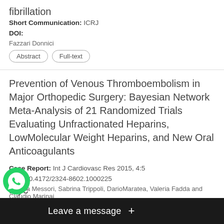fibrillation
Short Communication: ICRJ
DOI:
Fazzari Donnici
Abstract | Full-text
Prevention of Venous Thromboembolism in Major Orthopedic Surgery: Bayesian Network Meta-Analysis of 21 Randomized Trials Evaluating Unfractionated Heparins, LowMolecular Weight Heparins, and New Oral Anticoagulants
Case Report: Int J Cardiovasc Res 2015, 4:5
DOI: 10.4172/2324-8602.1000225
Andrea Messori, Sabrina Trippoli, DarioMaratea, Valeria Fadda and Claudio Marinai
Abstract | Full-text | PDF
Myc
[Figure (screenshot): WhatsApp chat icon overlay with green phone logo and 'Leave a message +' notification bar in dark background]